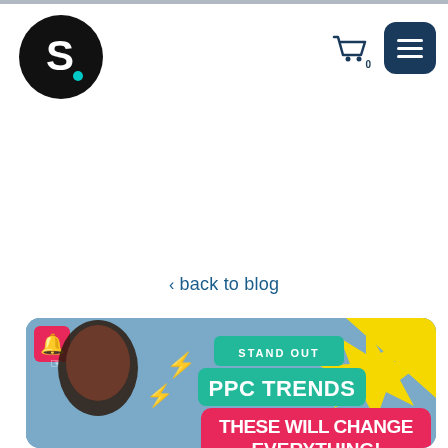[Figure (logo): Standout logo: black circle with white letter S and teal dot]
[Figure (illustration): Shopping cart icon with badge showing 0, and dark blue hamburger menu button]
< back to blog
[Figure (photo): Blog post hero image: man with surprised expression, yellow lightning bolts, red notification bell icon, text reads STAND OUT PPC TRENDS THESE WILL CHANGE EVERYTHING! on colorful comic-style background]